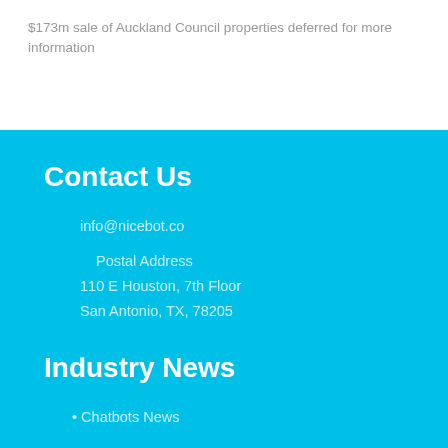$173m sale of Auckland Council properties deferred for more information
Contact Us
info@nicebot.co
Postal Address
110 E Houston, 7th Floor
San Antonio, TX, 78205
Industry News
Chatbots News